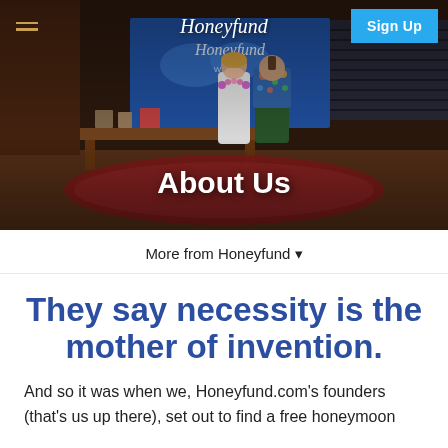[Figure (photo): Hero banner photo showing two people standing in a TV studio set (appears to be Shark Tank), with a Honeyfund display board visible behind them. The man wears a floral shirt and the woman wears a white dress with a flower lei. The set has a wooden floor, a red rug, a desk with props, and warm studio lighting.]
Honeyfund | Sign Up
About Us
More from Honeyfund ▾
They say necessity is the mother of invention.
And so it was when we, Honeyfund.com's founders (that's us up there), set out to find a free honeymoon